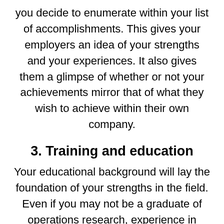you decide to enumerate within your list of accomplishments. This gives your employers an idea of your strengths and your experiences. It also gives them a glimpse of whether or not your achievements mirror that of what they wish to achieve within their own company.
3. Training and education
Your educational background will lay the foundation of your strengths in the field. Even if you may not be a graduate of operations research, experience in business administration makes you a perfect fit for a business setting. Similarly, a background in computer science is a definite edge